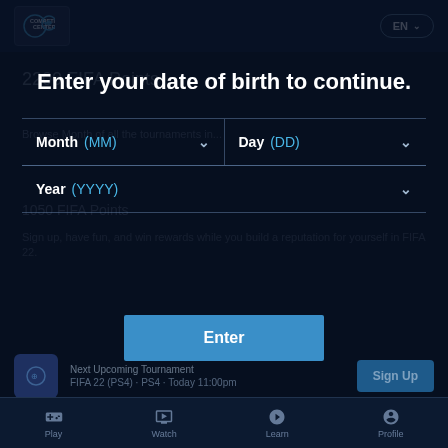Competition Center  EN
2200 FIFA Points
Browse Month of...
1050 FIFA Points
Sign up, have fun, and win rewards while you build a reputation for yourself in FIFA 22.
Enter your date of birth to continue.
Month (MM)
Day (DD)
Year (YYYY)
Next Upcoming Tournament
FIFA 22 (PS4) · PS4 · Today 11:00pm
Enter
Sign Up
Play  Watch  Learn  Profile